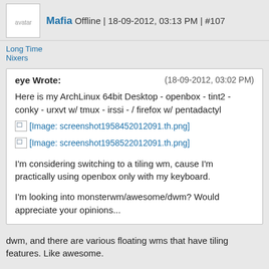Mafia Offline | 18-09-2012, 03:13 PM | #107
Long Time Nixers
eye Wrote: (18-09-2012, 03:02 PM)
Here is my ArchLinux 64bit Desktop - openbox - tint2 - conky - urxvt w/ tmux - irssi - / firefox w/ pentadactyl
[Image: screenshot1958452012091.th.png]
[Image: screenshot1958522012091.th.png]
I'm considering switching to a tiling wm, cause I'm practically using openbox only with my keyboard.
I'm looking into monsterwm/awesome/dwm? Would appreciate your opinions...
dwm, and there are various floating wms that have tiling features. Like awesome.